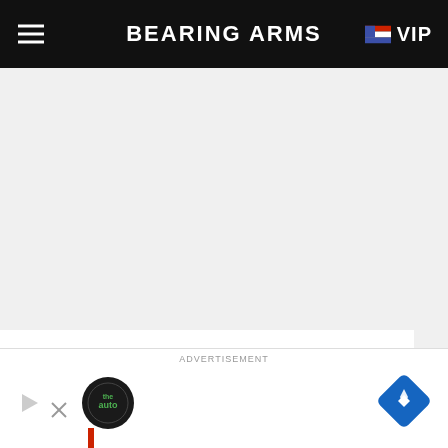BEARING ARMS VIP
[Figure (other): Advertisement placeholder area (gray background)]
It's been noted by several individuals and groups, including the Firearms Policy Coalition, that the new law could be tweaked to provide an avenue for gun control activists to interfere with the right to keep and bear arms, and Justice Brett Kavanaugh appeared to hone
[Figure (other): Bottom advertisement banner with auto parts logos and navigation icon]